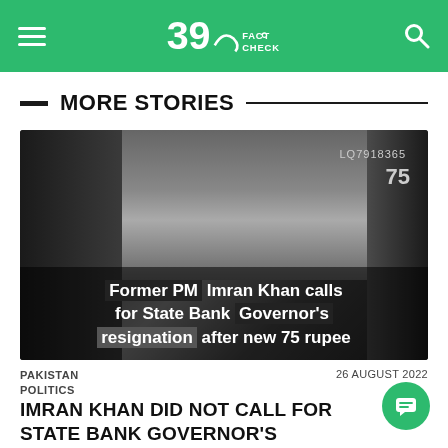Sach Fact Check
MORE STORIES
[Figure (photo): Black and white composite image showing former PM Imran Khan alongside Pakistani rupee note with figures, with overlay text about State Bank Governor's resignation]
PAKISTAN POLITICS
26 AUGUST 2022
IMRAN KHAN DID NOT CALL FOR STATE BANK GOVERNOR'S RESIGNATION